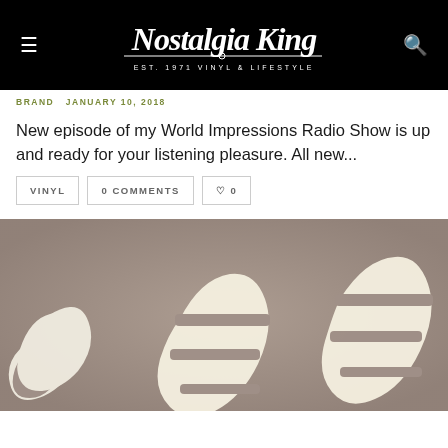Nostalgia King — EST. 1971 VINYL & LIFESTYLE
BRAND   JANUARY 10, 2018
New episode of my World Impressions Radio Show is up and ready for your listening pleasure. All new...
VINYL
0 COMMENTS
♡ 0
[Figure (photo): Stylized decorative lettering on a taupe/brown background — partial view of large wavy cream-colored retro letters]